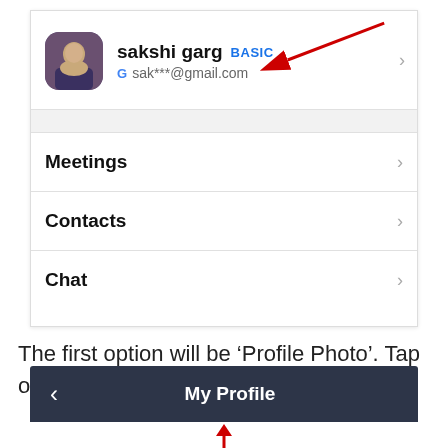[Figure (screenshot): Zoom app profile settings screen showing 'sakshi garg BASIC' with Gmail account 'sak***@gmail.com', menu items: Meetings, Contacts, Chat. A red arrow annotation points from the top-right area toward the profile section.]
The first option will be ‘Profile Photo’. Tap on it.
[Figure (screenshot): My Profile navigation bar with back chevron and title 'My Profile' on dark background, with a red arrow visible at the bottom.]